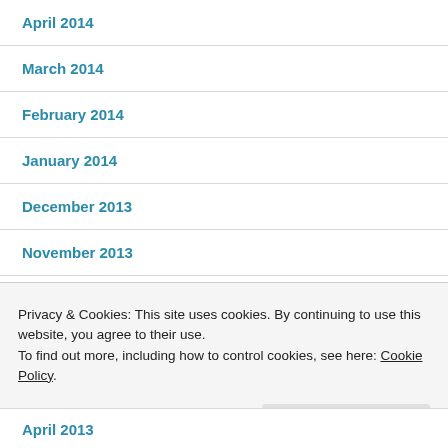April 2014
March 2014
February 2014
January 2014
December 2013
November 2013
October 2013
September 2013
Privacy & Cookies: This site uses cookies. By continuing to use this website, you agree to their use. To find out more, including how to control cookies, see here: Cookie Policy.
April 2013